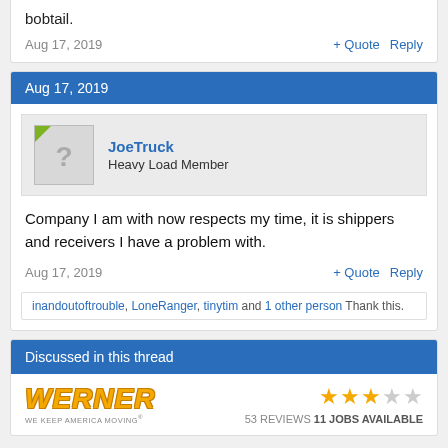bobtail.
Aug 17, 2019
+ Quote  Reply
Aug 17, 2019
JoeTruck
Heavy Load Member
Company I am with now respects my time, it is shippers and receivers I have a problem with.
Aug 17, 2019
+ Quote  Reply
inandoutoftrouble, LoneRanger, tinytim and 1 other person Thank this.
Discussed in this thread
WERNER WE KEEP AMERICA MOVING
53 REVIEWS  11 JOBS AVAILABLE